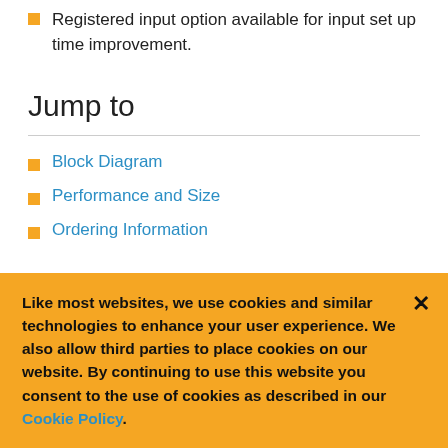Registered input option available for input set up time improvement.
Jump to
Block Diagram
Performance and Size
Ordering Information
Like most websites, we use cookies and similar technologies to enhance your user experience. We also allow third parties to place cookies on our website. By continuing to use this website you consent to the use of cookies as described in our Cookie Policy.